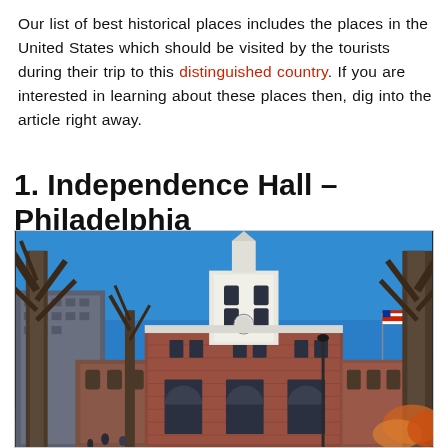Our list of best historical places includes the places in the United States which should be visited by the tourists during their trip to this distinguished country. If you are interested in learning about these places then, dig into the article right away.
1. Independence Hall – Philadelphia
[Figure (photo): Photograph of Independence Hall in Philadelphia. A red-brick colonial building with a white clock tower steeple, framed by bare winter trees against a bright blue sky. A modern office building is visible to the left. An American flag flies on a flagpole to the right.]